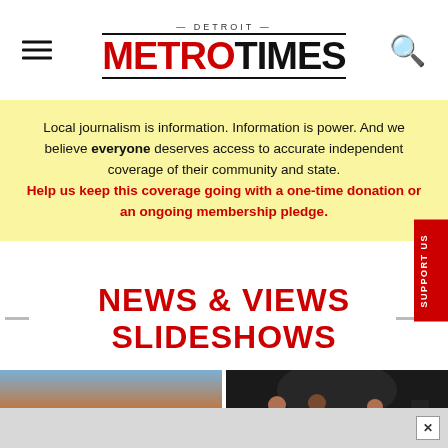[Figure (logo): Detroit Metro Times logo with hamburger menu icon on left and search icon on right]
Local journalism is information. Information is power. And we believe everyone deserves access to accurate independent coverage of their community and state. Help us keep this coverage going with a one-time donation or an ongoing membership pledge.
NEWS & VIEWS SLIDESHOWS
[Figure (photo): Two people embracing at waterfront at sunset]
[Figure (photo): Three women on stage, one in blue dress]